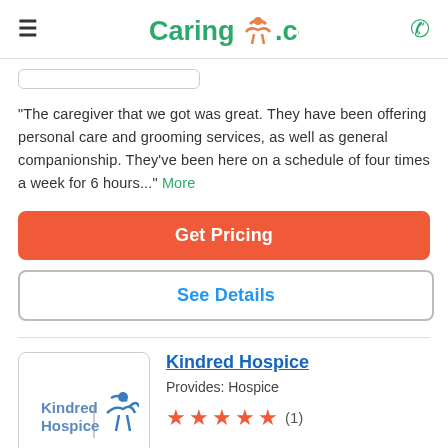Caring.com
"The caregiver that we got was great. They have been offering personal care and grooming services, as well as general companionship. They've been here on a schedule of four times a week for 6 hours..." More
Get Pricing
See Details
Kindred Hospice
Provides: Hospice
(1)